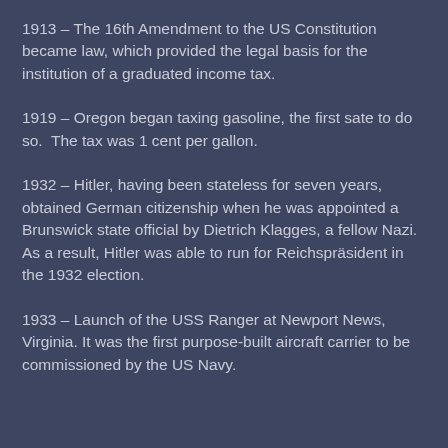1913 – The 16th Amendment to the US Constitution became law, which provided the legal basis for the institution of a graduated income tax.
1919 – Oregon began taxing gasoline, the first sate to do so.  The tax was 1 cent per gallon.
1932 – Hitler, having been stateless for seven years, obtained German citizenship when he was appointed a Brunswick state official by Dietrich Klagges, a fellow Nazi. As a result, Hitler was able to run for Reichspräsident in the 1932 election.
1933 – Launch of the USS Ranger at Newport News, Virginia. It was the first purpose-built aircraft carrier to be commissioned by the US Navy.